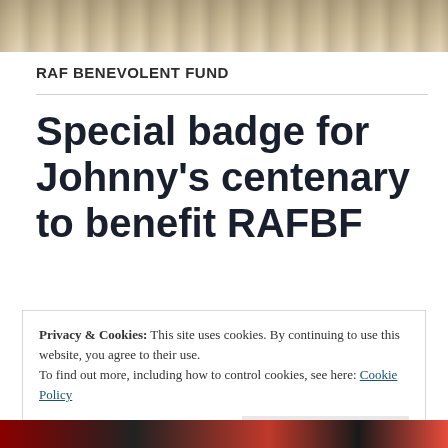[Figure (photo): Sepia-toned historical photograph at top of page]
RAF BENEVOLENT FUND
Special badge for Johnny's centenary to benefit RAFBF
Privacy & Cookies: This site uses cookies. By continuing to use this website, you agree to their use.
To find out more, including how to control cookies, see here: Cookie Policy
Close and accept
[Figure (photo): Photograph at bottom of page showing figures in dark and red clothing]